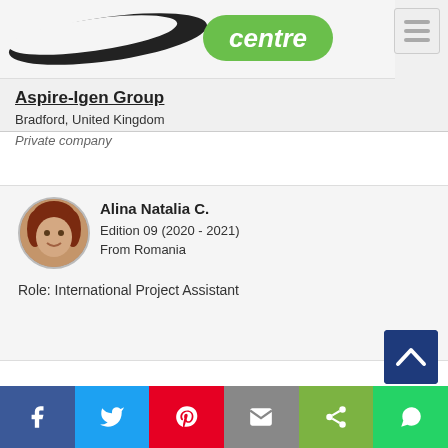[Figure (screenshot): Partial logo/header of a website with green 'centre' text and hamburger menu icon]
Aspire-Igen Group
Bradford, United Kingdom
Private company
[Figure (photo): Circular avatar photo of Alina Natalia C., a young woman with reddish hair]
Alina Natalia C.
Edition 09 (2020 - 2021)
From Romania
Role: International Project Assistant
[Figure (screenshot): Blue scroll-to-top button with upward chevron arrow]
[Figure (screenshot): Partial bottom card visible]
[Figure (infographic): Social sharing bar with Facebook, Twitter, Pinterest, Email, Share, and WhatsApp buttons]